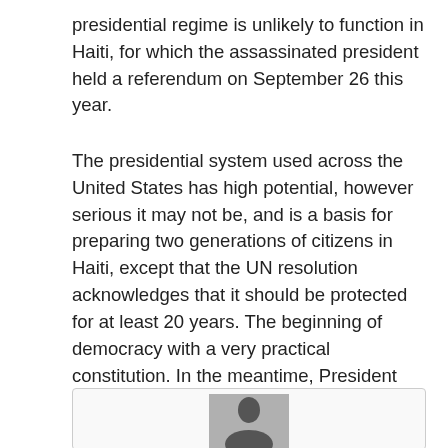presidential regime is unlikely to function in Haiti, for which the assassinated president held a referendum on September 26 this year.
The presidential system used across the United States has high potential, however serious it may not be, and is a basis for preparing two generations of citizens in Haiti, except that the UN resolution acknowledges that it should be protected for at least 20 years. The beginning of democracy with a very practical constitution. In the meantime, President Abinader's position on closing the border to avoid tidal waves is correct and, for practical reasons, authorizes the shipment of fuel and food. However, a fence is needed to allow us to mark and protect our territory.
[Figure (photo): Partial photo of a person, cropped at bottom of page, showing head/shoulders]